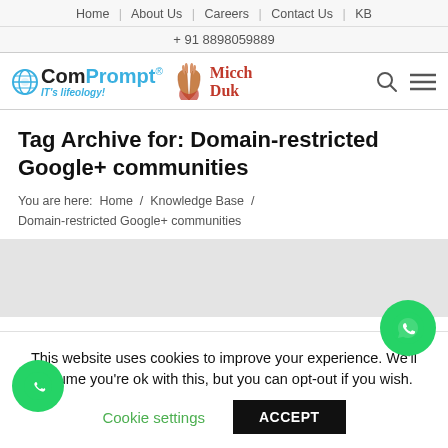Home | About Us | Careers | Contact Us | KB
+ 91 8898059889
[Figure (logo): ComPrompt IT's lifeology! logo with globe icon and Micch Duk praying hands logo]
Tag Archive for: Domain-restricted Google+ communities
You are here: Home / Knowledge Base / Domain-restricted Google+ communities
This website uses cookies to improve your experience. We'll assume you're ok with this, but you can opt-out if you wish.
Cookie settings  ACCEPT